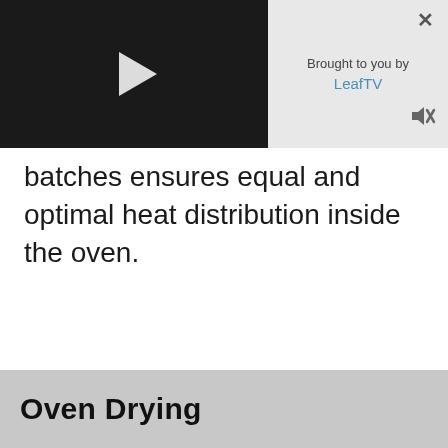[Figure (screenshot): Video player widget showing a dark video area with a play button on the left, and a light gray sidebar on the right with 'Brought to you by' text, a 'LeafTV' blue link, a close (×) button, and a mute/speaker icon.]
batches ensures equal and optimal heat distribution inside the oven.
Oven Drying